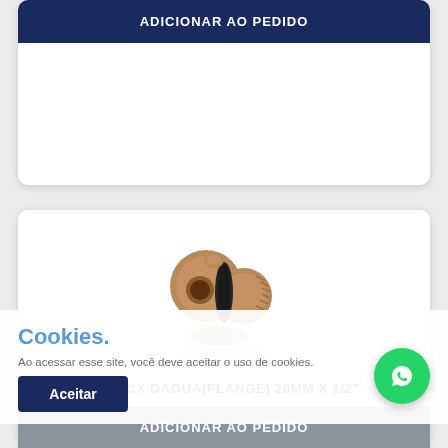ADICIONAR AO PEDIDO
[Figure (photo): Brown PVC pipe fitting / water tank adapter with flange and rubber seal ring (ADAPTADOR CX DAGUA FLANGE 20MM X 1/2")]
ADAPTADOR CX DAGUA(FLANGE) 20MM X 1/2"
R$ 9,78
ADICIONAR AO PEDIDO
Cookies.
Ao acessar esse site, você deve aceitar o uso de cookies.
Aceitar